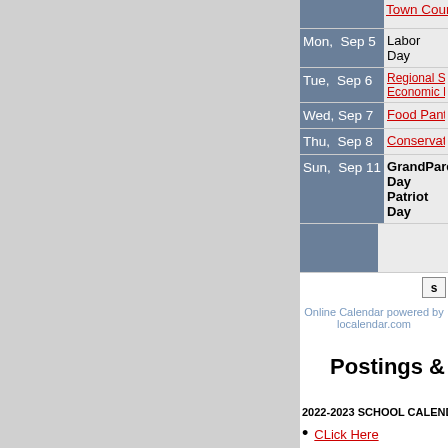| Date | Event |
| --- | --- |
|  | Town Council Meetin... |
| Mon,  Sep 5 | Labor Day |
| Tue,  Sep 6 | Regional School Co...
Economic Developm... |
| Wed,  Sep 7 | Food Pantry (10 am ... |
| Thu,  Sep 8 | Conservation Comm... |
| Sun,  Sep 11 | GrandParents' Day
Patriot Day |
Online Calendar powered by localendar.com
Postings &
2022-2023 SCHOOL CALENDAR   POSTED JULY 28,
CLick Here
INVITATION FOR BID #2022-05   POSTED JULY 27, 20...